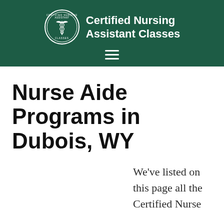Certified Nursing Assistant Classes
Nurse Aide Programs in Dubois, WY
We've listed on this page all the Certified Nurse